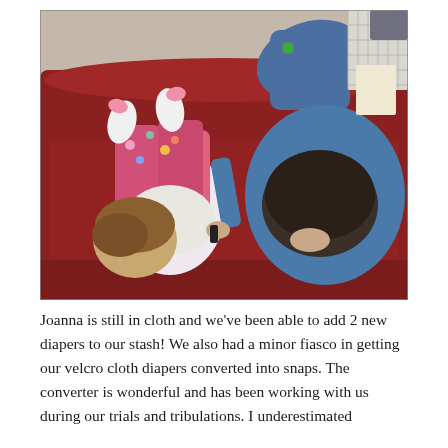[Figure (photo): Overhead view of a man and a toddler lying on a red/burgundy sofa, viewed from above. The toddler (Joanna) is on the left wearing colorful pants and white socks, with brown hair. The man is on the right wearing a blue sweater, with dark short hair. In the background is a carpeted floor with a small green ball and a white metal baby gate.]
Joanna is still in cloth and we've been able to add 2 new diapers to our stash! We also had a minor fiasco in getting our velcro cloth diapers converted into snaps. The converter is wonderful and has been working with us during our trials and tribulations. I underestimated